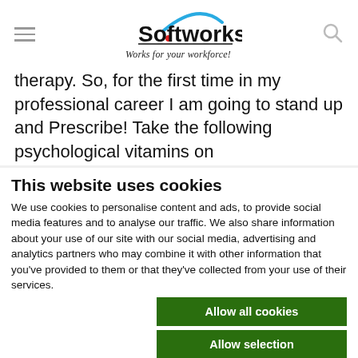Softworks — Works for your workforce!
therapy. So, for the first time in my professional career I am going to stand up and Prescribe! Take the following psychological vitamins on
This website uses cookies
We use cookies to personalise content and ads, to provide social media features and to analyse our traffic. We also share information about your use of our site with our social media, advertising and analytics partners who may combine it with other information that you've provided to them or that they've collected from your use of their services.
Allow all cookies | Allow selection | Use necessary cookies only
Necessary  Preferences  Statistics  Marketing  Show details